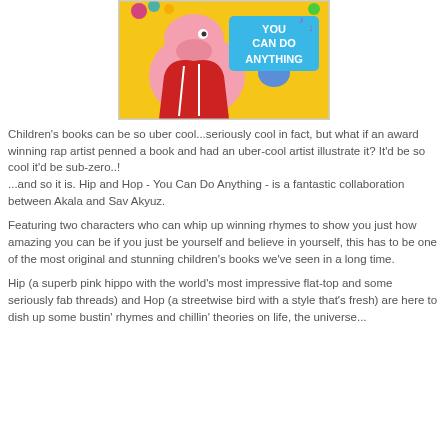[Figure (illustration): Book cover illustration showing a pink hippo character wearing a red outfit and a colorful bird, with yellow background and text 'YOU CAN DO ANYTHING' in blue letters]
Children's books can be so uber cool...seriously cool in fact, but what if an award winning rap artist penned a book and had an uber-cool artist illustrate it? It'd be so cool it'd be sub-zero..!
...and so it is. Hip and Hop - You Can Do Anything - is a fantastic collaboration between Akala and Sav Akyuz.
Featuring two characters who can whip up winning rhymes to show you just how amazing you can be if you just be yourself and believe in yourself, this has to be one of the most original and stunning children's books we've seen in a long time.
Hip (a superb pink hippo with the world's most impressive flat-top and some seriously fab threads) and Hop (a streetwise bird with a style that's fresh) are here to dish up some bustin' rhymes and chillin' theories on life, the universe...